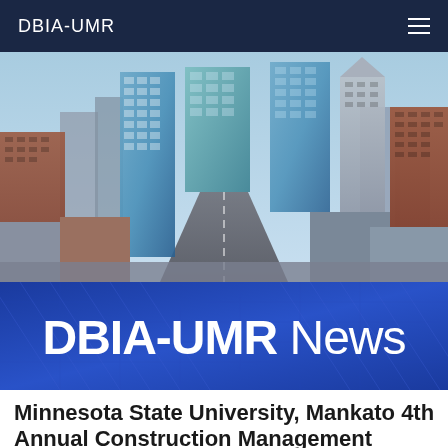DBIA-UMR
[Figure (photo): Aerial view of a city skyline with modern glass skyscrapers and brick buildings under a blue sky]
DBIA-UMR News
Minnesota State University, Mankato 4th Annual Construction Management Student Association Sporting Clay Event